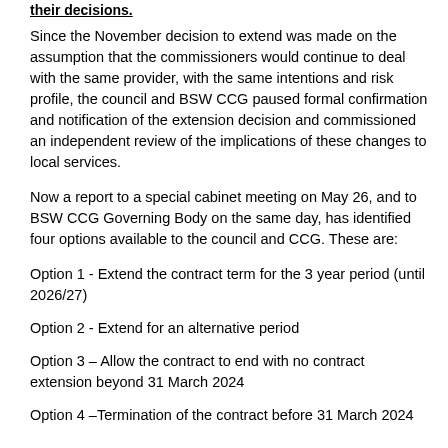Since the November decision to extend was made on the assumption that the commissioners would continue to deal with the same provider, with the same intentions and risk profile, the council and BSW CCG paused formal confirmation and notification of the extension decision and commissioned an independent review of the implications of these changes to local services.
Now a report to a special cabinet meeting on May 26, and to BSW CCG Governing Body on the same day, has identified four options available to the council and CCG. These are:
Option 1 - Extend the contract term for the 3 year period (until 2026/27)
Option 2 - Extend for an alternative period
Option 3 – Allow the contract to end with no contract extension beyond 31 March 2024
Option 4 –Termination of the contract before 31 March 2024